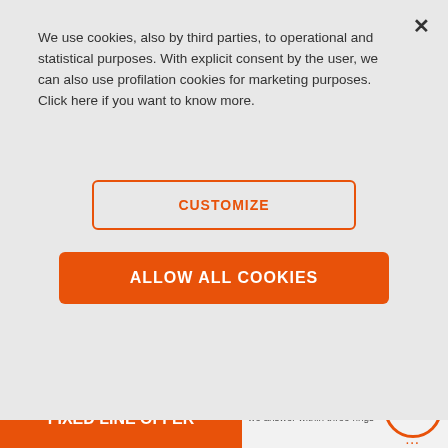We use cookies, also by third parties, to operational and statistical purposes. With explicit consent by the user, we can also use profilation cookies for marketing purposes. Click here if you want to know more.
CUSTOMIZE
ALLOW ALL COOKIES
[Figure (logo): Orange X cross icon - Centrex logo]
Centrex
Your telephone switchboard in the Cloud
[Figure (photo): Black office IP telephone handset against light blue background with cloud illustration]
[Figure (illustration): WiFi router icon with orange/blue signal arcs, with partial text M and A]
[Figure (illustration): Rocket launch icon in orange outline, with partial text B]
CONFIGURE YOUR FIXED LINE OFFER
CALL 145
we answer within three rings